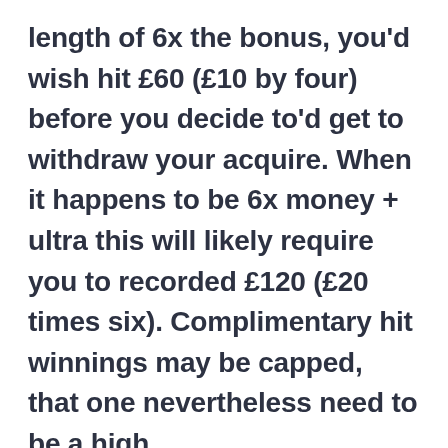length of 6x the bonus, you'd wish hit £60 (£10 by four) before you decide to'd get to withdraw your acquire. When it happens to be 6x money + ultra this will likely require you to recorded £120 (£20 times six). Complimentary hit winnings may be capped, that one nevertheless need to be a high